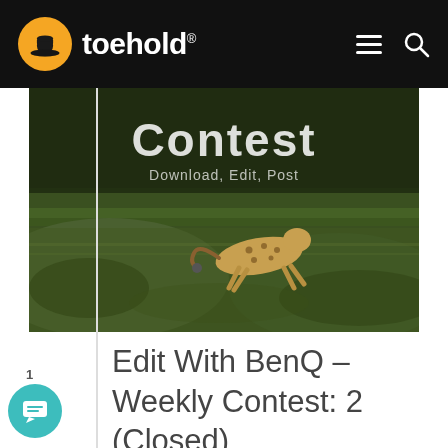toehold®
[Figure (photo): A cheetah running through a grassy savannah field, with overlaid text reading 'Contest – Download, Edit, Post']
Edit With BenQ – Weekly Contest: 2 (Closed)